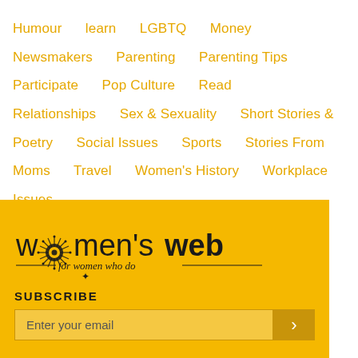Humour   learn   LGBTQ   Money   Newsmakers   Parenting   Parenting Tips   Participate   Pop Culture   Read   Relationships   Sex & Sexuality   Short Stories & Poetry   Social Issues   Sports   Stories From Moms   Travel   Women's History   Workplace Issues
[Figure (logo): Women's Web logo — 'women's web for women who do' in black and dark serif text on yellow background]
SUBSCRIBE
Enter your email